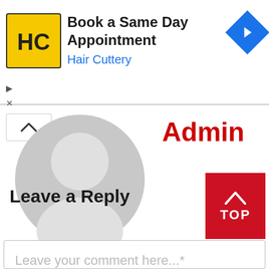[Figure (illustration): Hair Cuttery advertisement banner with logo, text 'Book a Same Day Appointment / Hair Cuttery', and a blue navigation arrow icon. Small play and close controls at bottom left.]
[Figure (illustration): Default user avatar silhouette in gray circle, with a caret/up-arrow button in top-left corner. 'Admin' label in red bold text to the right.]
Leave a Reply
[Figure (other): Red 'TOP' button with upward caret arrow in white]
Leave your comment here...*